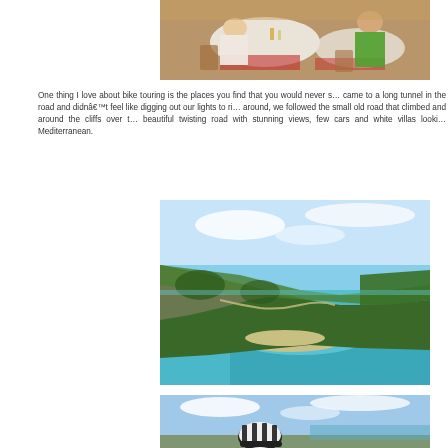[Figure (photo): People sitting at restaurant tables, outdoor dining scene with a cyclist in green jersey visible]
One thing I love about bike touring is the places you find that you would never s... came to a long tunnel in the road and didnâ€™t feel like digging out our lights to ri... around, we followed the small old road that climbed and around the cliffs over t... beautiful twisting road with stunning views, few cars and white villas looki... Mediterranean.
[Figure (photo): Aerial/elevated view of Mediterranean coastline with cliffs, winding road, sandy beach and turquoise sea]
[Figure (photo): Cyclist wearing a black and white helmet against a sky background with coastal scenery]